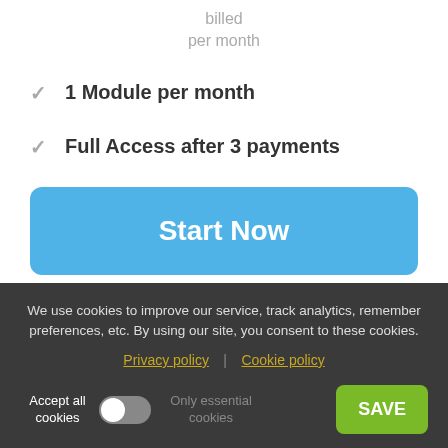billed
per month
1 Module per month
Full Access after 3 payments
Start Now
We use cookies to improve our service, track analytics, remember preferences, etc. By using our site, you consent to these cookies.
Privacy policy | Cookie policy
Accept all cookies
Only essential cookies
SAVE